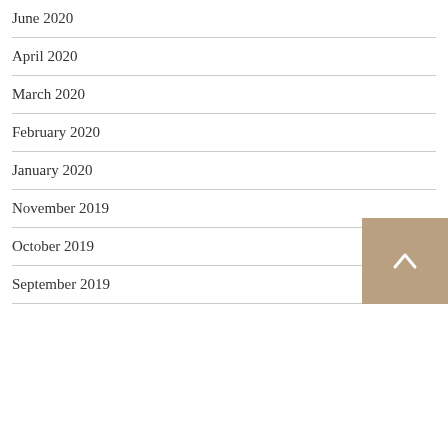June 2020
April 2020
March 2020
February 2020
January 2020
November 2019
October 2019
September 2019